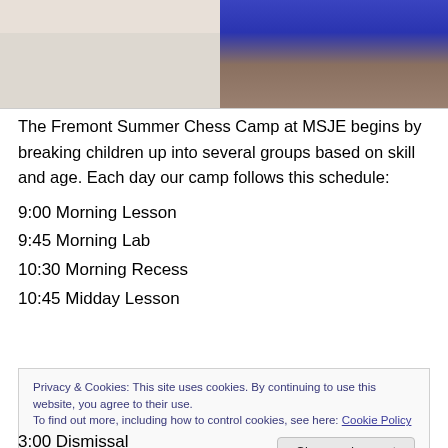[Figure (photo): Two photos side by side: left photo shows a light-colored surface (possibly a chess board or table), right photo shows a child in a blue shirt viewed from above with a chess board visible.]
The Fremont Summer Chess Camp at MSJE begins by breaking children up into several groups based on skill and age. Each day our camp follows this schedule:
9:00 Morning Lesson
9:45 Morning Lab
10:30 Morning Recess
10:45 Midday Lesson
Privacy & Cookies: This site uses cookies. By continuing to use this website, you agree to their use. To find out more, including how to control cookies, see here: Cookie Policy
3:00 Dismissal